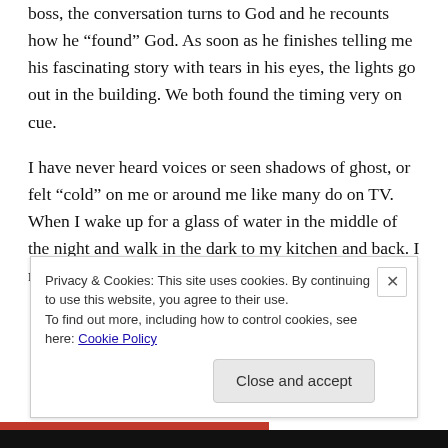boss, the conversation turns to God and he recounts how he “found” God. As soon as he finishes telling me his fascinating story with tears in his eyes, the lights go out in the building. We both found the timing very on cue.

I have never heard voices or seen shadows of ghost, or felt “cold” on me or around me like many do on TV. When I wake up for a glass of water in the middle of the night and walk in the dark to my kitchen and back. I never feel
Privacy & Cookies: This site uses cookies. By continuing to use this website, you agree to their use.
To find out more, including how to control cookies, see here: Cookie Policy